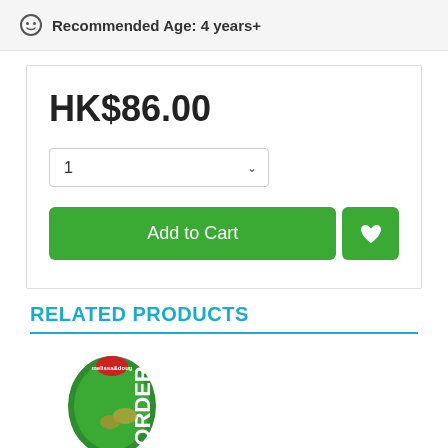Recommended Age: 4 years+
HK$86.00
[Figure (screenshot): Add to Cart button area with quantity selector and wishlist heart button on an e-commerce product page]
RELATED PRODUCTS
[Figure (photo): Product thumbnail showing a green packaged item with ORDER text visible, partially cropped]